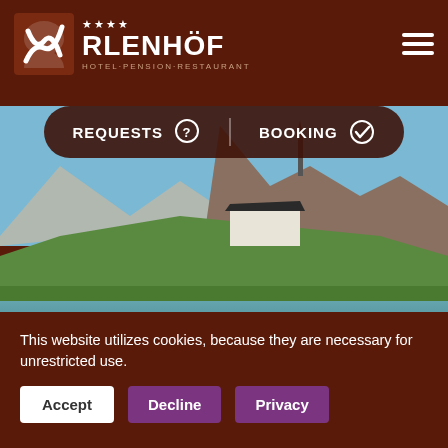[Figure (logo): Erlenhof Hotel Pension Restaurant logo with stylized S icon and 4 stars]
[Figure (photo): Alpine mountain landscape with a building/hotel on a rocky hillside reflected in a calm lake]
REQUESTS
BOOKING
This website utilizes cookies, because they are necessary for unrestricted use.
Accept
Decline
Privacy